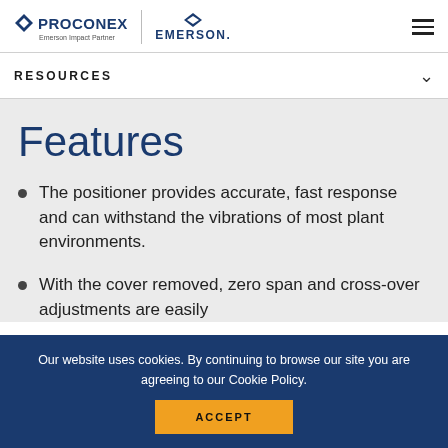PROCONEX Emerson Impact Partner | EMERSON
RESOURCES
Features
The positioner provides accurate, fast response and can withstand the vibrations of most plant environments.
With the cover removed, zero span and cross-over adjustments are easily
Our website uses cookies. By continuing to browse our site you are agreeing to our Cookie Policy.
ACCEPT